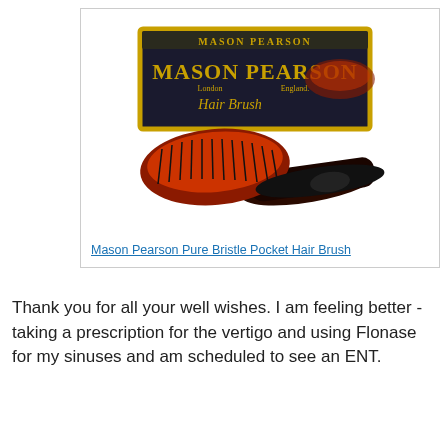[Figure (photo): Mason Pearson Pure Bristle Pocket Hair Brush product photo showing a hairbrush with dark handle and orange/auburn bristle pad in front of its black and yellow product box]
Mason Pearson Pure Bristle Pocket Hair Brush
Thank you for all your well wishes. I am feeling better - taking a prescription for the vertigo and using Flonase for my sinuses and am scheduled to see an ENT.